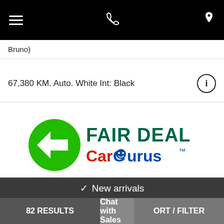Navigation bar with hamburger menu, phone, and location icons
Bruno)
67,380 KM. Auto. White Int: Black
[Figure (logo): FAIR DEAL CarGurus logo — green circle with white arrow, 'FAIR DEAL' in bold dark teal/green text, 'CarGurus' in stylized red and blue text with trademark symbol]
✓ New arrivals
NOUVEL ARRIVAGE! ❤
82 RESULTS   Chat with Sales   ORT / FILTER